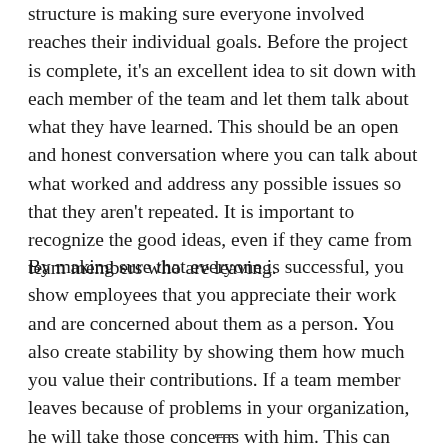structure is making sure everyone involved reaches their individual goals. Before the project is complete, it's an excellent idea to sit down with each member of the team and let them talk about what they have learned. This should be an open and honest conversation where you can talk about what worked and address any possible issues so that they aren't repeated. It is important to recognize the good ideas, even if they came from team members who are leaving.
By making sure that everyone is successful, you show employees that you appreciate their work and are concerned about them as a person. You also create stability by showing them how much you value their contributions. If a team member leaves because of problems in your organization, he will take those concerns with him. This can lead to negative word-of-mouth marketing, which can seriously damage your business reputation.
page number indicator